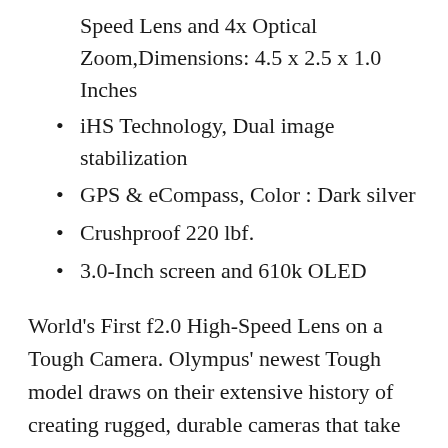Speed Lens and 4x Optical Zoom,Dimensions: 4.5 x 2.5 x 1.0 Inches
iHS Technology, Dual image stabilization
GPS & eCompass, Color : Dark silver
Crushproof 220 lbf.
3.0-Inch screen and 610k OLED
World's First f2.0 High-Speed Lens on a Tough Camera. Olympus' newest Tough model draws on their extensive history of creating rugged, durable cameras that take the worry out of life-on-the-go shooting. This revolutionary TOUGH model introduces the World's First Ultra-Bright, High-Speed f2.0 lens on a Tough camera allowing you to capture dramatically better images in low-light and fast action